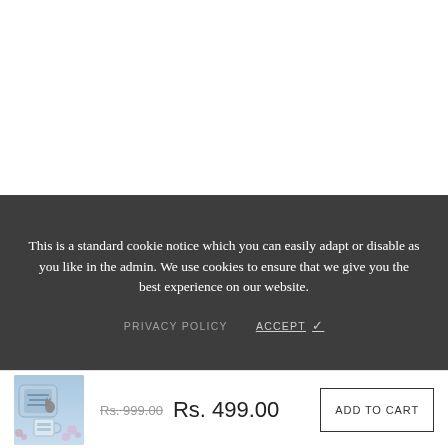This is a standard cookie notice which you can easily adapt or disable as you like in the admin. We use cookies to ensure that we give you the best experience on our website.
PRIVACY POLICY    ACCEPT ✓
[Figure (photo): Small thumbnail of a product bundle showing a decorative cushion and a mug with a blue sky background]
Rs. 999.00 Rs. 499.00
ADD TO CART